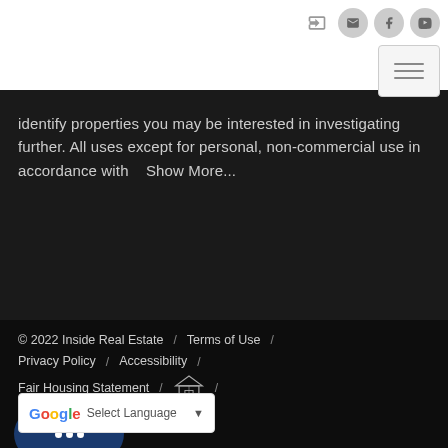[Figure (screenshot): Website header bar with social/login icons (sign-in arrow, mail, Facebook, YouTube) and a hamburger menu button]
identify properties you may be interested in investigating further. All uses except for personal, non-commercial use in accordance with   Show More...
© 2022 Inside Real Estate  /  Terms of Use  /  Privacy Policy  /  Accessibility  /  Fair Housing Statement  /  [Equal Housing Opportunity logo]  /
[Figure (screenshot): Google Translate widget with dropdown arrow saying 'Select Language']
[Figure (screenshot): Dark blue chat button with three white dots (chat bubble icon)]